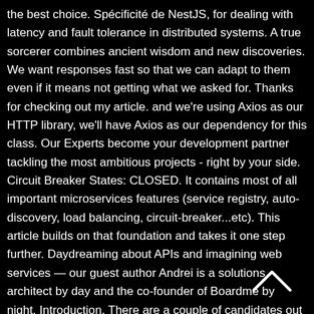the best choice. Spécificité de NestJS, for dealing with latency and fault tolerance in distributed systems. A true sorcerer combines ancient wisdom and new discoveries. We want responses fast so that we can adapt to them even if it means not getting what we asked for. Thanks for checking out my article. and we're using Axios as our HTTP library, we'll have Axios as our dependency for this class. Our Experts become your development partner tackling the most ambitious projects - right by your side. Circuit Breaker States: CLOSED. It contains most of all important microservices features (service registry, auto-discovery, load balancing, circuit-breaker...etc). This article builds on that foundation and takes it one step further. Daydreaming about APIs and imagining web services — our guest author Andrei is a solutions architect by day and the co-founder of Boardme by night. Introduction. There are a couple of candidates out there like opossum, hystrixJS, and brakes. If requests keep failing and you don't have a system in place that handles the situation gracefully. Circuit Breaker for Selecting Mail Transfer Agent. Things that can be improved. It uses
[Figure (other): A chevron/caret upward arrow icon in white on black background]